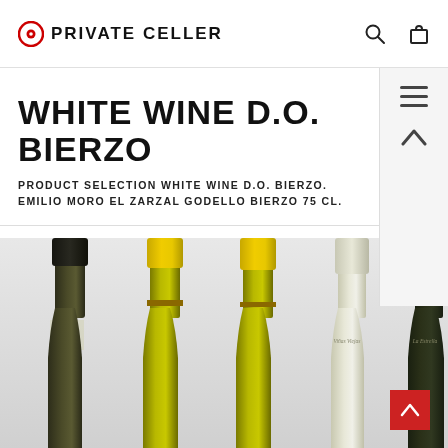PRIVATE CELLER
WHITE WINE D.O. BIERZO
PRODUCT SELECTION WHITE WINE D.O. BIERZO. EMILIO MORO EL ZARZAL GODELLO BIERZO 75 CL.
[Figure (photo): Five wine bottles lined up showing their necks and upper bodies against a light grey background. From left to right: dark/olive bottle, yellow-capsuled bottle, yellow-capsuled bottle, cream/white-capsuled bottle, and dark-capsuled bottle.]